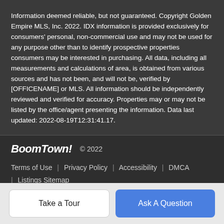Information deemed reliable, but not guaranteed. Copyright Golden Empire MLS, Inc. 2022. IDX information is provided exclusively for consumers' personal, non-commercial use and may not be used for any purpose other than to identify prospective properties consumers may be interested in purchasing. All data, including all measurements and calculations of area, is obtained from various sources and has not been, and will not be, verified by [OFFICENAME] or MLS. All information should be independently reviewed and verified for accuracy. Properties may or may not be listed by the office/agent presenting the information. Data last updated: 2022-08-19T12:31:41.17.
BoomTown! © 2022 | Terms of Use | Privacy Policy | Accessibility | DMCA | Listings Sitemap
Take a Tour
Ask A Question